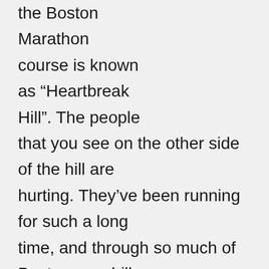the Boston Marathon course is known as “Heartbreak Hill”. The people that you see on the other side of the hill are hurting. They’ve been running for such a long time, and through so much of Boston, any hill on the course at this point seems torturous. But Heartbreak Hill is also the last major hill of the course. As I turned around to walk back toward the 22 mile mark, there were numerous shouts of “The worst is over!” and “It can only get better from here!” But as I was able to follow up from a